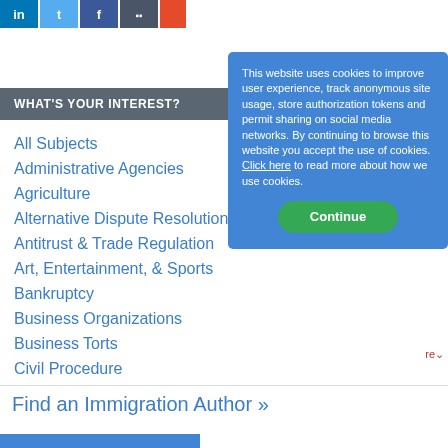[Figure (other): Social media icon buttons row: LinkedIn (blue), Twitter (light blue), Facebook (dark blue), additional icon (dark blue-gray), chart icon (orange-red), yellow icon]
WHAT'S YOUR INTEREST?
All Subjects
Administrative Agencies
Agriculture
Alternative Dispute Resolution (A
Antitrust & Trade Regulation
Art, Entertainment, & Sports
Bankruptcy
Business Organizations
Business Torts
Civil Procedure
This website uses cookies to improve user experience, track anonymous site usage, store authorization tokens and permit sharing on social media networks. By continuing to browse this website you accept the use of cookies. Click here to read more about how we use cookies.
Continue
Find an Immigration Author »